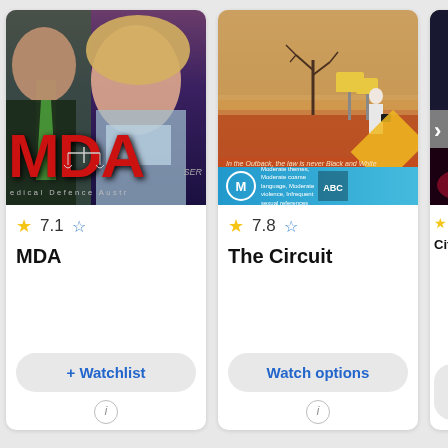[Figure (screenshot): MDA (Medical Defence Australia) TV show poster with two actors and red MDA logo with scales of justice]
7.1
MDA
+ Watchlist
[Figure (screenshot): The Circuit TV show poster showing a man in outback Australian desert with a yellow banner and M rating]
7.8
The Circuit
Watch options
[Figure (screenshot): Partial view of a third TV show card, partially cut off on the right edge, showing City H... title]